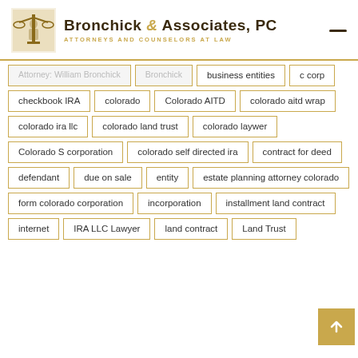Bronchick & Associates, PC — Attorneys and Counselors at Law
business entities
c corp
checkbook IRA
colorado
Colorado AITD
colorado aitd wrap
colorado ira llc
colorado land trust
colorado laywer
Colorado S corporation
colorado self directed ira
contract for deed
defendant
due on sale
entity
estate planning attorney colorado
form colorado corporation
incorporation
installment land contract
internet
IRA LLC Lawyer
land contract
Land Trust